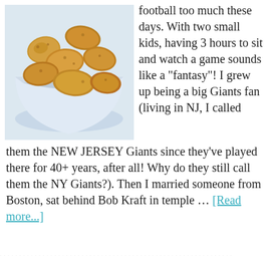[Figure (photo): A white square bowl filled with golden-brown breaded chicken nuggets or bites, photographed on a white background.]
football too much these days. With two small kids, having 3 hours to sit and watch a game sounds like a "fantasy"! I grew up being a big Giants fan (living in NJ, I called them the NEW JERSEY Giants since they've played there for 40+ years, after all! Why do they still call them the NY Giants?). Then I married someone from Boston, sat behind Bob Kraft in temple … [Read more...]